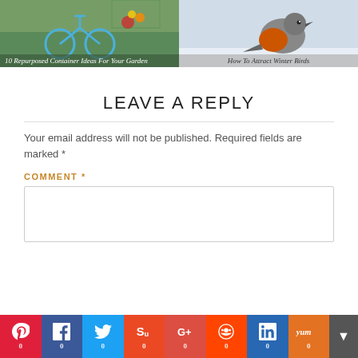[Figure (photo): Two side-by-side blog post thumbnails: left shows a bicycle with flowers titled '10 Repurposed Container Ideas For Your Garden', right shows a robin bird in snow titled 'How To Attract Winter Birds']
LEAVE A REPLY
Your email address will not be published. Required fields are marked *
COMMENT *
[Figure (screenshot): Social sharing bar with Pinterest, Facebook, Twitter, StumbleUpon, Google+, Reddit, LinkedIn, Yummly buttons, each showing 0 shares]